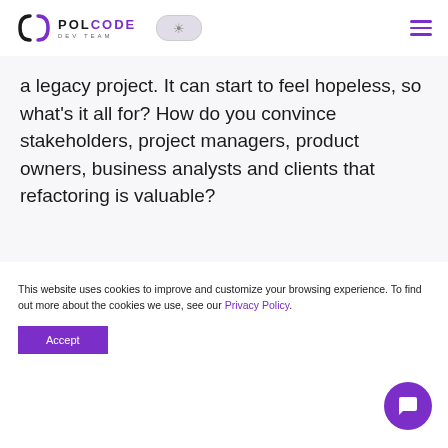POLCODE DEV TEAM
a legacy project. It can start to feel hopeless, so what's it all for? How do you convince stakeholders, project managers, product owners, business analysts and clients that refactoring is valuable?
Resource Efficiency.
This website uses cookies to improve and customize your browsing experience. To find out more about the cookies we use, see our Privacy Policy.